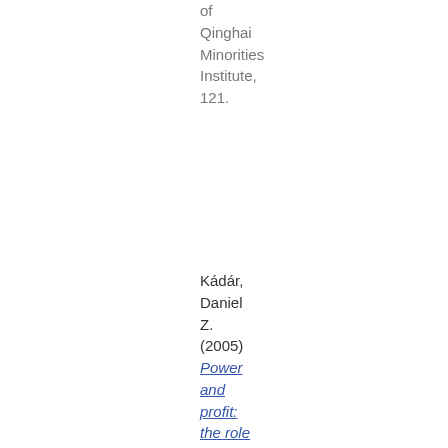of Qinghai Minorities Institute, 121.
Kádár, Daniel Z. (2005) Power and profit: the role of elevating/denigrating forms of address in pre-modern Chi...